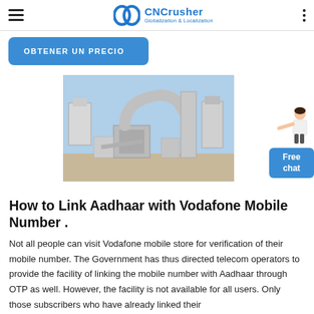CNCrusher — Globalization & Localization
OBTENER UN PRECIO
[Figure (photo): Industrial crushing/milling equipment outdoors — large white machinery with pipes and silos on a concrete pad under blue sky.]
[Figure (illustration): Free chat widget with a person illustration and a blue button labeled Free chat.]
How to Link Aadhaar with Vodafone Mobile Number .
Not all people can visit Vodafone mobile store for verification of their mobile number. The Government has thus directed telecom operators to provide the facility of linking the mobile number with Aadhaar through OTP as well. However, the facility is not available for all users. Only those subscribers who have already linked their